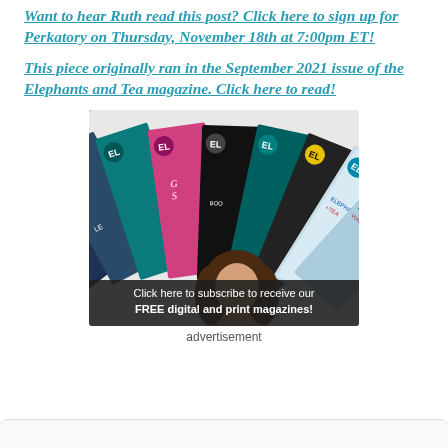Want to hear Ruth read this post? Click here to sign up for Perkatory on Thursday, November 18th at 7:00pm ET!
This piece originally ran in the September 2021 issue of the Elephants and Tea magazine. Click here to read!
[Figure (photo): Advertisement image showing a fan of Elephants and Tea magazine issues with a SUBSCRIBE badge in the top left. A woman's face is visible in the foreground. Overlay text reads: Click here to subscribe to receive our FREE digital and print magazines!]
advertisement